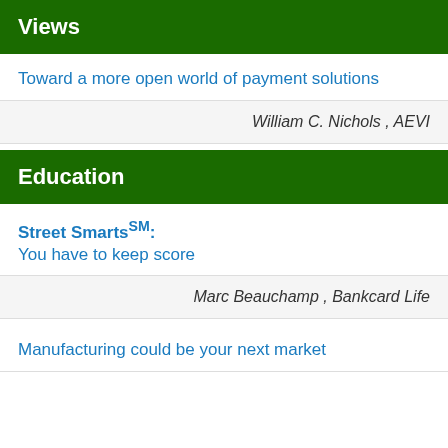Views
Toward a more open world of payment solutions
William C. Nichols , AEVI
Education
Street Smarts℠: You have to keep score
Marc Beauchamp , Bankcard Life
Manufacturing could be your next market